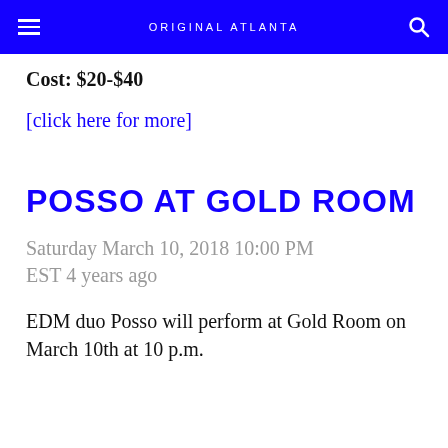ORIGINAL ATLANTA
Cost: $20-$40
[click here for more]
POSSO AT GOLD ROOM
Saturday March 10, 2018 10:00 PM EST 4 years ago
EDM duo Posso will perform at Gold Room on March 10th at 10 p.m.